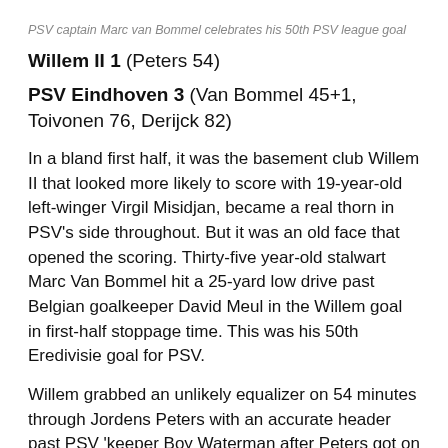PSV captain Marc van Bommel celebrates his 50th PSV league goal
Willem II 1 (Peters 54)
PSV Eindhoven 3 (Van Bommel 45+1, Toivonen 76, Derijck 82)
In a bland first half, it was the basement club Willem II that looked more likely to score with 19-year-old left-winger Virgil Misidjan, became a real thorn in PSV’s side throughout. But it was an old face that opened the scoring. Thirty-five year-old stalwart Marc Van Bommel hit a 25-yard low drive past Belgian goalkeeper David Meul in the Willem goal in first-half stoppage time. This was his 50th Eredivisie goal for PSV.
Willem grabbed an unlikely equalizer on 54 minutes through Jordens Peters with an accurate header past PSV ‘keeper Boy Waterman after Peters got on the end of a